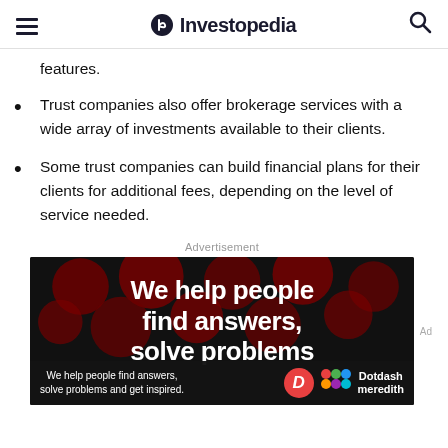Investopedia
features.
Trust companies also offer brokerage services with a wide array of investments available to their clients.
Some trust companies can build financial plans for their clients for additional fees, depending on the level of service needed.
Advertisement
[Figure (illustration): Advertisement banner reading 'We help people find answers, solve problems' with dark background and red dot pattern. Footer shows Dotdash Meredith branding.]